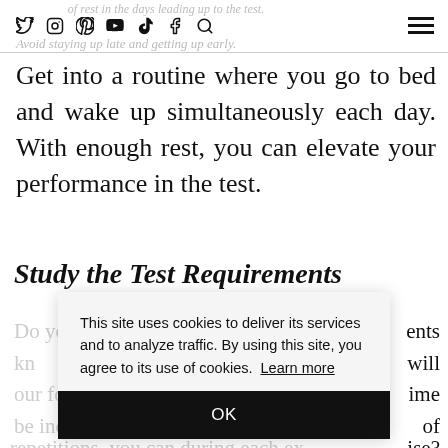of rest in the days leading up to the test. Avoid staying up late and getting up early.
Get into a routine where you go to bed and wake up simultaneously each day. With enough rest, you can elevate your performance in the test.
Study the Test Requirements
[partial text obscured by cookie dialog] ...ents ...will ...ime ...of
repetitions, you can during each exercise?
When do beginners progress to...